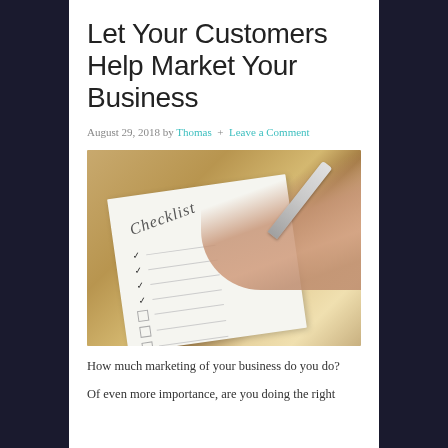Let Your Customers Help Market Your Business
August 29, 2018 by Thomas + Leave a Comment
[Figure (photo): A hand holding a pen checking off items on a checklist paper on a wooden table.]
How much marketing of your business do you do? Of even more importance, are you doing the right